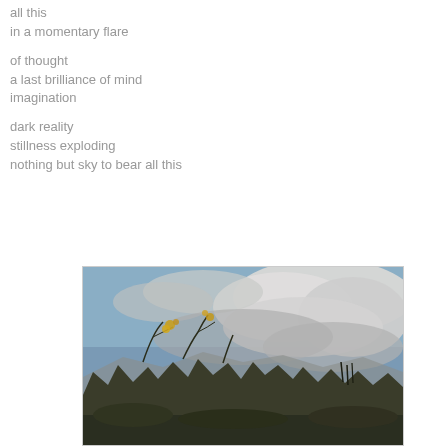all this
in a momentary flare

of thought
a last brilliance of mind
imagination

dark reality
stillness exploding
nothing but sky to bear all this
[Figure (photo): A photograph showing the tops of bare/sparse trees or shrubs with yellow flowers or leaves against a dramatic cloudy sky with grey-white cloud formations and hints of blue sky and mountains in the background.]